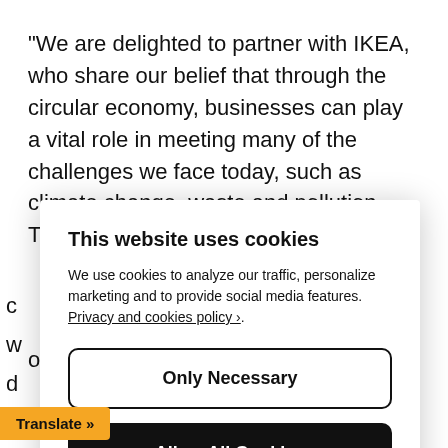“We are delighted to partner with IKEA, who share our belief that through the circular economy, businesses can play a vital role in meeting many of the challenges we face today, such as climate change, waste and pollution. The circular
[Figure (screenshot): Cookie consent modal overlay with title 'This website uses cookies', body text about cookie policy with a link, two buttons ('Only Necessary' and 'Allow All Cookies'), and a 'Configure Settings' link.]
oundation will be developing global definitions which are circular economy that is fact-based